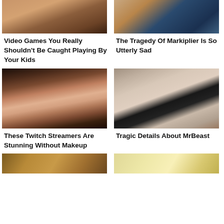[Figure (photo): Cropped photo of a young woman's face with brown hair, visible lips and chin area]
[Figure (photo): Cropped photo of a bearded man wearing a blue shirt, visible lower face and chin]
Video Games You Really Shouldn't Be Caught Playing By Your Kids
The Tragedy Of Markiplier Is So Utterly Sad
[Figure (photo): Close-up photo of a young woman with dark hair and dramatic makeup, wearing a black choker]
[Figure (photo): Close-up photo of a young man with brown hair and light mustache, wearing a black shirt]
These Twitch Streamers Are Stunning Without Makeup
Tragic Details About MrBeast
[Figure (photo): Partial photo with warm brown/gold tones, appears to be food or person partially visible]
[Figure (photo): Partial photo with light yellow/cream tones, partially visible]